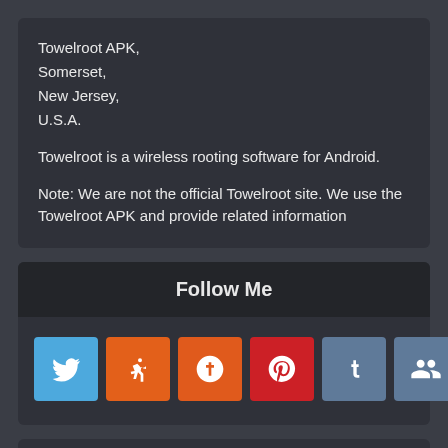Towelroot APK,
Somerset,
New Jersey,
U.S.A.

Towelroot is a wireless rooting software for Android.

Note: We are not the official Towelroot site. We use the Towelroot APK and provide related information
Follow Me
[Figure (infographic): Row of social media icon buttons: Twitter (blue bird icon), run/activity (orange), StumbleUpon (orange), Pinterest (red), Tumblr (steel blue), MySpace (steel blue, people icons), Reddit (orange)]